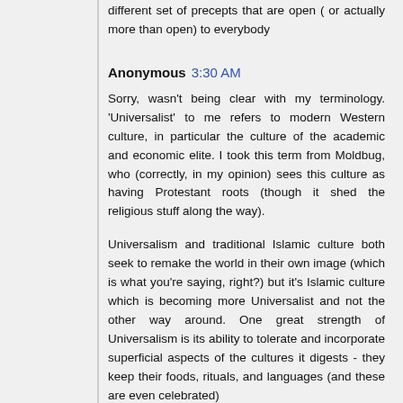different set of precepts that are open ( or actually more than open) to everybody
Anonymous 3:30 AM
Sorry, wasn't being clear with my terminology. 'Universalist' to me refers to modern Western culture, in particular the culture of the academic and economic elite. I took this term from Moldbug, who (correctly, in my opinion) sees this culture as having Protestant roots (though it shed the religious stuff along the way).
Universalism and traditional Islamic culture both seek to remake the world in their own image (which is what you're saying, right?) but it's Islamic culture which is becoming more Universalist and not the other way around. One great strength of Universalism is its ability to tolerate and incorporate superficial aspects of the cultures it digests - they keep their foods, rituals, and languages (and these are even celebrated)